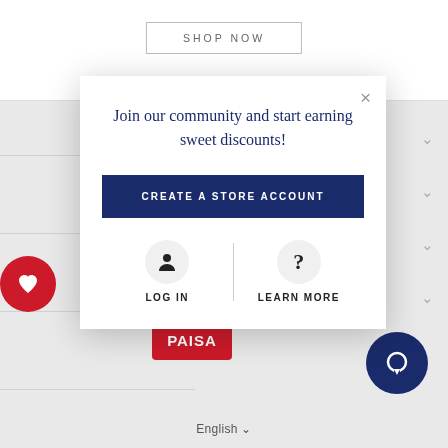[Figure (screenshot): E-commerce website background with SHOP NOW button, navigation chevrons, red heart circle, PAISA logo, and chat bubble icon]
[Figure (infographic): Modal popup dialog with close X button, heading text, CREATE A STORE ACCOUNT button, LOG IN and LEARN MORE options]
Join our community and start earning sweet discounts!
CREATE A STORE ACCOUNT
LOG IN
LEARN MORE
English